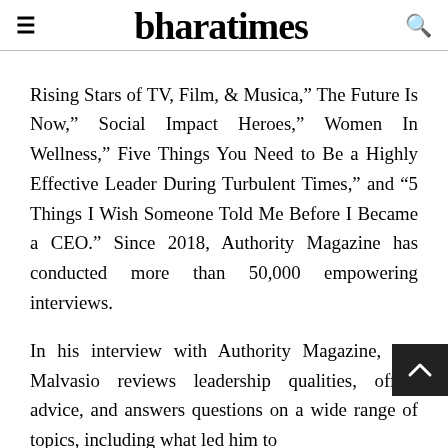bharatimes
Rising Stars of TV, Film, & Musica,” The Future Is Now,” Social Impact Heroes,” Women In Wellness,” Five Things You Need to Be a Highly Effective Leader During Turbulent Times,” and “5 Things I Wish Someone Told Me Before I Became a CEO.” Since 2018, Authority Magazine has conducted more than 50,000 empowering interviews.
In his interview with Authority Magazine, Joe Malvasio reviews leadership qualities, offers advice, and answers questions on a wide range of topics, including what led him to